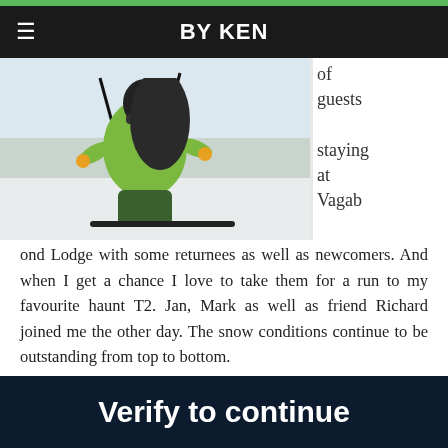BY KEN
[Figure (photo): Skier in green and yellow jacket with helmet skiing on snow slopes at Whitewater/T2 area]
of guests staying at Vagabond Lodge with some returnees as well as newcomers. And when I get a chance I love to take them for a run to my favourite haunt T2.  Jan, Mark as well as friend Richard joined me the other day.  The snow conditions continue to be outstanding from top to bottom.
February is always our busiest month of the winter but we still has some rooms available.  Give us  a call at 250 344 2622 or email info@vagabondlodge.ca
Hope to see you.
Verify to continue